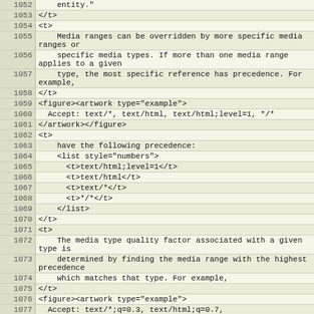| line | code |
| --- | --- |
| 1052 |     entity." |
| 1053 | </t> |
| 1054 | <t> |
| 1055 |     Media ranges can be overridden by more specific media ranges or |
| 1056 |     specific media types. If more than one media range applies to a given |
| 1057 |     type, the most specific reference has precedence. For example, |
| 1058 | </t> |
| 1059 | <figure><artwork type="example"> |
| 1060 |   Accept: text/*, text/html, text/html;level=1, */* |
| 1061 | </artwork></figure> |
| 1062 | <t> |
| 1063 |     have the following precedence: |
| 1064 |     <list style="numbers"> |
| 1065 |       <t>text/html;level=1</t> |
| 1066 |       <t>text/html</t> |
| 1067 |       <t>text/*</t> |
| 1068 |       <t>*/*</t> |
| 1069 |     </list> |
| 1070 | </t> |
| 1071 | <t> |
| 1072 |     The media type quality factor associated with a given type is |
| 1073 |     determined by finding the media range with the highest precedence |
| 1074 |     which matches that type. For example, |
| 1075 | </t> |
| 1076 | <figure><artwork type="example"> |
| 1077 |   Accept: text/*;q=0.3, text/html;q=0.7,
  text/html;level=1, |
| 1078 |         text/html;level=2;q=0.4, */*;q=0.5 |